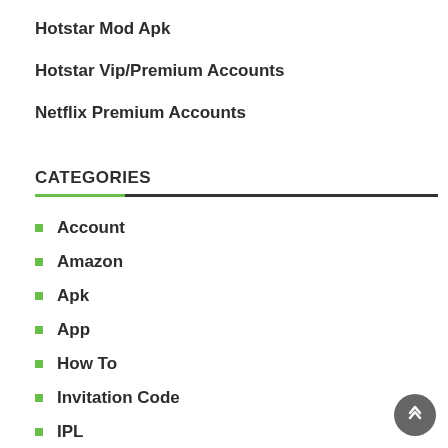Hotstar Mod Apk
Hotstar Vip/Premium Accounts
Netflix Premium Accounts
CATEGORIES
Account
Amazon
Apk
App
How To
Invitation Code
IPL